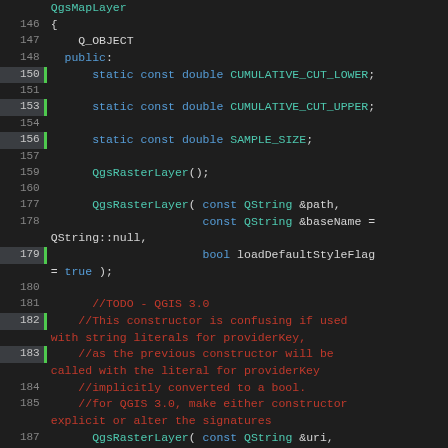[Figure (screenshot): Source code listing of QgsRasterLayer class header in C++, showing line numbers 146-194 with syntax highlighting. Lines include class members, constructors, and TODO comments. Green bar highlights certain lines on the left gutter.]